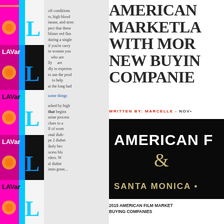[Figure (illustration): Left strip showing colorful magazine/booklet spines tiled vertically with pink magenta and cyan colors, 'LAVar' text and 'L' letters visible]
[Figure (illustration): Middle section showing a curved book page with small gray body text in columns, partially readable text about health topics]
AMERICAN MARKETPLACE WITH MORE NEW BUYING COMPANIES
WRITTEN BY: MARCELLE - NOV•
[Figure (photo): Black promotional banner showing 'AMERICAN F' text at top in white bold letters, an ampersand in gold/tan color, and 'SANTA MONICA •' text at bottom in gold letters on black background]
2015 AMERICAN FILM MARKET BUYING COMPANIES